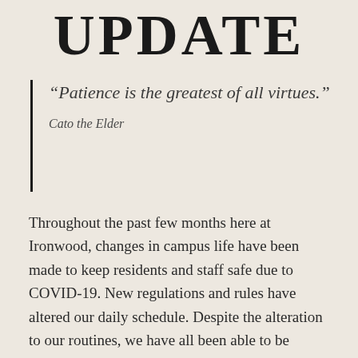UPDATE
“Patience is the greatest of all virtues.”

Cato the Elder
Throughout the past few months here at Ironwood, changes in campus life have been made to keep residents and staff safe due to COVID-19. New regulations and rules have altered our daily schedule. Despite the alteration to our routines, we have all been able to be resilient. Change offers us opportunities of gratitude and a sense of respect for alternative perspectives and approaches and